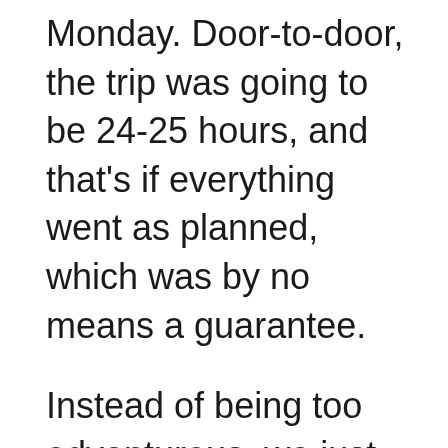Monday. Door-to-door, the trip was going to be 24-25 hours, and that's if everything went as planned, which was by no means a guarantee.
Instead of being too adventurous, we just stuck around the hotel on Sunday touring the grounds. I got caught up on the blog, we tried to sleep a lot, had a few drinks with lunch, then an early dinner to catch